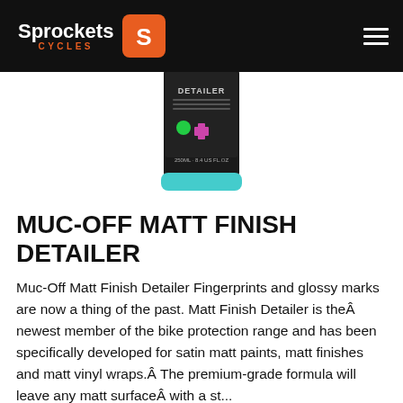Sprockets Cycles
[Figure (photo): Muc-Off Matt Finish Detailer product bottle, black cylindrical container with blue cap, label showing 'DETAILER' text and cross symbol, 250ml]
MUC-OFF MATT FINISH DETAILER
Muc-Off Matt Finish Detailer Fingerprints and glossy marks are now a thing of the past. Matt Finish Detailer is theÂ newest member of the bike protection range and has been specifically developed for satin matt paints, matt finishes and matt vinyl wraps.Â The premium-grade formula will leave any matt surfaceÂ with a st...